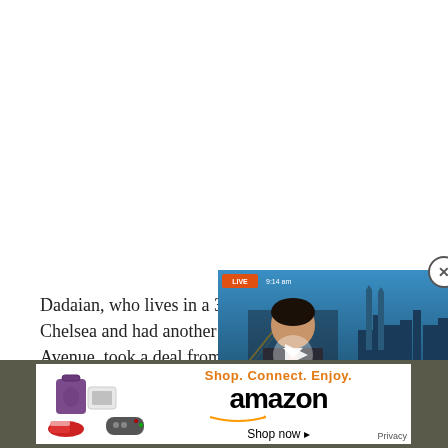Dadaian, who lives in a 31- Chelsea and had another o Avenue, took a deal from th than risk trial.
[Figure (screenshot): Embedded video overlay showing a Bloomberg-style financial news broadcast. A man in a suit with a red tie is visible. Lower-third graphics read 'LIVE 9:14 am', 'Rahul Chadha', 'MIRAE ASSET GLOBAL INVESTMENTS PTE LTD', and 'ASIAN STOCKS HOVER NEAR 6-WEEK LOWS'. A play button triangle is overlaid in the center. A close (X) button is in the top-right corner.]
[Figure (screenshot): Amazon advertisement banner with product images (purple bag, white device, red sneaker, game controller), text 'Shop. Connect. Enjoy. Shop now' and the Amazon logo with smile arrow. Privacy label in corner.]